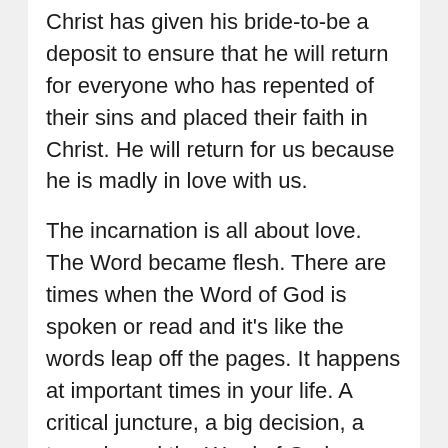Christ has given his bride-to-be a deposit to ensure that he will return for everyone who has repented of their sins and placed their faith in Christ. He will return for us because he is madly in love with us.
The incarnation is all about love. The Word became flesh. There are times when the Word of God is spoken or read and it's like the words leap off the pages. It happens at important times in your life. A critical juncture, a big decision, a tragedy and the Word of God comes alive. That's Jesus incarnating in your life. The Word becoming flesh. It is in those moments when Jesus reminds us, don't worry, I know it's tough,